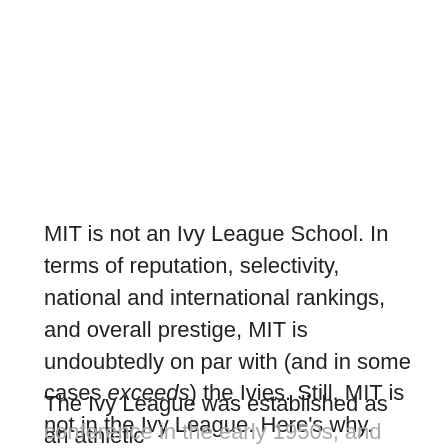MIT is not an Ivy League School. In terms of reputation, selectivity, national and international rankings, and overall prestige, MIT is undoubtedly on par with (and in some cases exceeds) the Ivies. Still, MIT is not in the Ivy League. Here's why.
The Ivy League was established as an athletic conference in the early 1950s, and includes eight private schools in the Northeastern corner of the